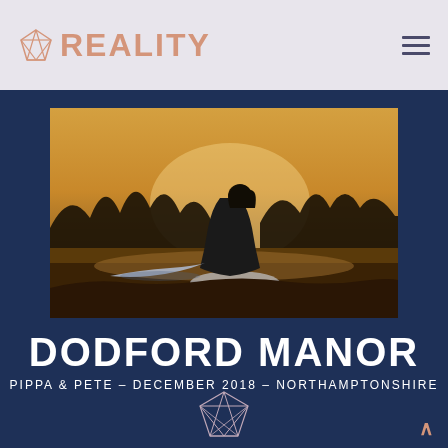REALITY
[Figure (photo): Wedding couple silhouetted at golden hour in a field, bride in white gown with a long train, groom leaning toward her]
DODFORD MANOR
PIPPA & PETE - DECEMBER 2018 - NORTHAMPTONSHIRE